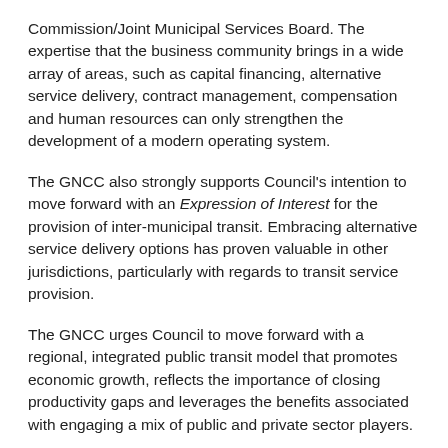Commission/Joint Municipal Services Board. The expertise that the business community brings in a wide array of areas, such as capital financing, alternative service delivery, contract management, compensation and human resources can only strengthen the development of a modern operating system.
The GNCC also strongly supports Council's intention to move forward with an Expression of Interest for the provision of inter-municipal transit. Embracing alternative service delivery options has proven valuable in other jurisdictions, particularly with regards to transit service provision.
The GNCC urges Council to move forward with a regional, integrated public transit model that promotes economic growth, reflects the importance of closing productivity gaps and leverages the benefits associated with engaging a mix of public and private sector players.